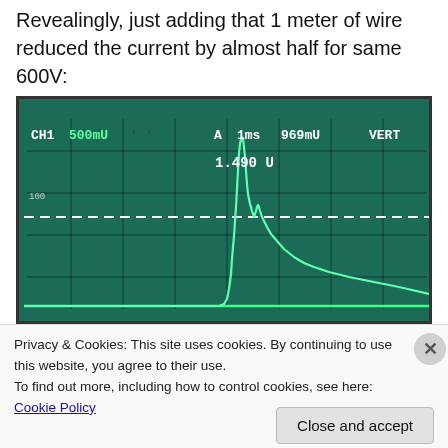Revealingly, just adding that 1 meter of wire reduced the current by almost half for same 600V:
[Figure (photo): Oscilloscope screen showing CH1 500mU, A, 1ms, 969mU, VERT settings. Display reads 1.490 U. A waveform shows a spike/pulse characteristic with a dashed reference line across the screen.]
Privacy & Cookies: This site uses cookies. By continuing to use this website, you agree to their use.
To find out more, including how to control cookies, see here: Cookie Policy